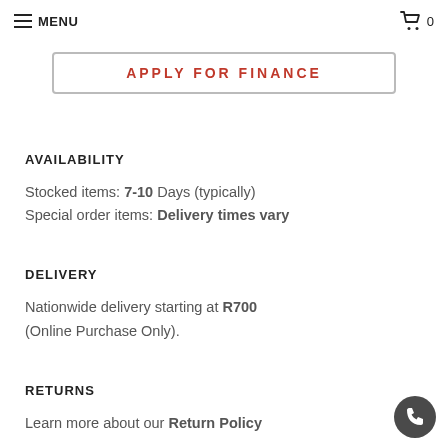MENU  0
APPLY FOR FINANCE
AVAILABILITY
Stocked items: 7-10 Days (typically)
Special order items: Delivery times vary
DELIVERY
Nationwide delivery starting at R700 (Online Purchase Only).
RETURNS
Learn more about our Return Policy